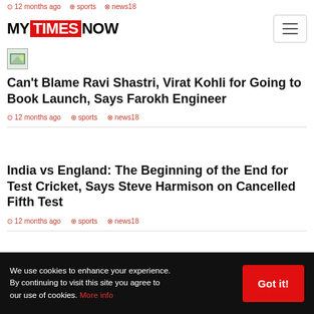12 months ago  sports  news18
[Figure (logo): MyTimesNow logo with TIMES in red background]
[Figure (photo): Small placeholder image icon]
Can't Blame Ravi Shastri, Virat Kohli for Going to Book Launch, Says Farokh Engineer
12 months ago  sports  news18
India vs England: The Beginning of the End for Test Cricket, Says Steve Harmison on Cancelled Fifth Test
12 months ago  sports  news18
We use cookies to enhance your experience. By continuing to visit this site you agree to our use of cookies. More info